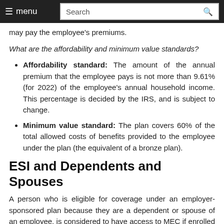menu | Search
may pay the employee's premiums.
What are the affordability and minimum value standards?
Affordability standard: The amount of the annual premium that the employee pays is not more than 9.61% (for 2022) of the employee's annual household income. This percentage is decided by the IRS, and is subject to change.
Minimum value standard: The plan covers 60% of the total allowed costs of benefits provided to the employee under the plan (the equivalent of a bronze plan).
ESI and Dependents and Spouses
A person who is eligible for coverage under an employer-sponsored plan because they are a dependent or spouse of an employee, is considered to have access to MEC if enrolled in or eligible to enroll in the plan.
Does the annual premium for ESI for family meet the same affordability standard as employee-only